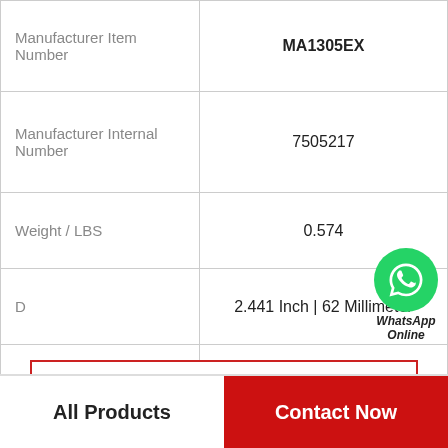| Attribute | Value |
| --- | --- |
| Manufacturer Item Number | MA1305EX |
| Manufacturer Internal Number | 7505217 |
| Weight / LBS | 0.574 |
| D | 2.441 Inch | 62 Millimeter |
| d | 0.984 Inch | 25 Millimeter |
| B | 0.669 Inch | 17 Millimeter |
View more
All Products | Contact Now